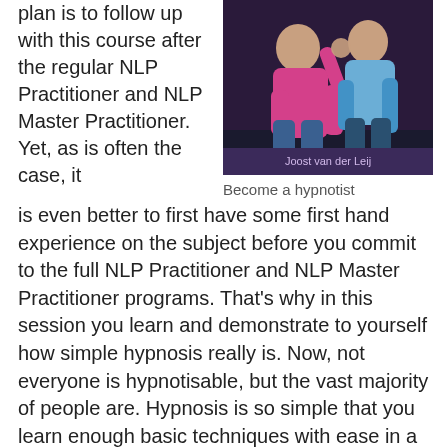plan is to follow up with this course after the regular NLP Practitioner and NLP Master Practitioner. Yet, as is often the case, it
[Figure (photo): Two people interacting, one appears to be demonstrating a hypnosis technique on the other. Caption reads: Joost van der Leij]
Become a hypnotist
is even better to first have some first hand experience on the subject before you commit to the full NLP Practitioner and NLP Master Practitioner programs. That's why in this session you learn and demonstrate to yourself how simple hypnosis really is. Now, not everyone is hypnotisable, but the vast majority of people are. Hypnosis is so simple that you learn enough basic techniques with ease in a few hours to hypnotise someone and go into a deep trance yourself.
Continue reading →